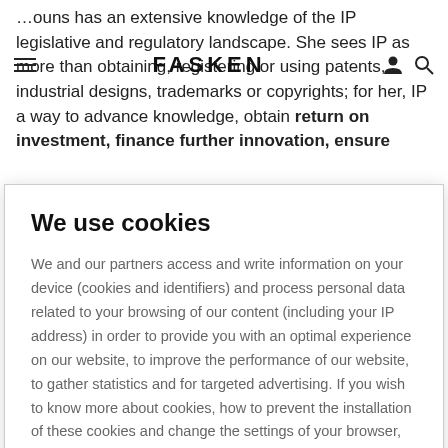…ouns has an extensive knowledge of the IP legislative and regulatory landscape. She sees IP as more than obtaining, registering or using patents, industrial designs, trademarks or copyrights; for her, IP a way to advance knowledge, obtain return on investment, finance further innovation, ensure
FASKEN
We use cookies
We and our partners access and write information on your device (cookies and identifiers) and process personal data related to your browsing of our content (including your IP address) in order to provide you with an optimal experience on our website, to improve the performance of our website, to gather statistics and for targeted advertising. If you wish to know more about cookies, how to prevent the installation of these cookies and change the settings of your browser, click here
Cookies Settings
ACCEPT ALL COOKIES